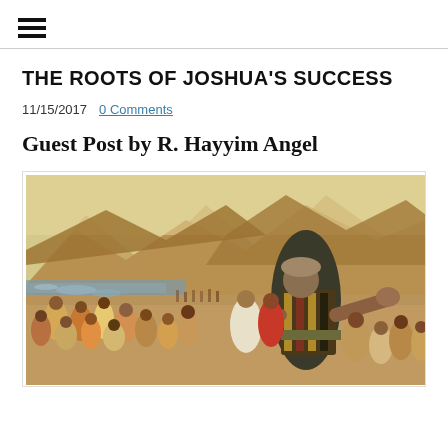☰ (hamburger menu icon)
THE ROOTS OF JOSHUA'S SUCCESS
11/15/2017  0 Comments
Guest Post by R. Hayyim Angel
[Figure (illustration): A painting depicting a biblical scene of Joshua leading a large crowd of people through water, with mountains and desert landscape in the background. A central figure in colorful robes gestures with his arm outstretched.]